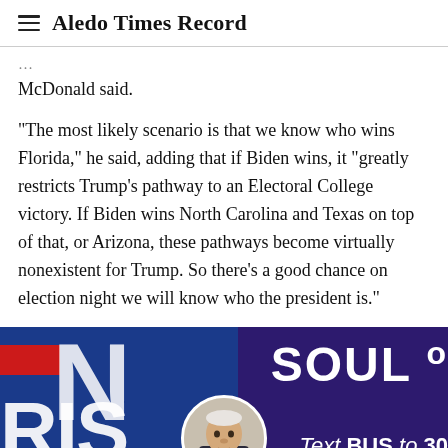≡ Aledo Times Record
McDonald said.
"The most likely scenario is that we know who wins Florida," he said, adding that if Biden wins, it "greatly restricts Trump's pathway to an Electoral College victory. If Biden wins North Carolina and Texas on top of that, or Arizona, these pathways become virtually nonexistent for Trump. So there's a good chance on election night we will know who the president is."
[Figure (photo): Photo of Joe Biden at a campaign event with Biden-Harris campaign signage. Text visible includes 'N', 'RIS', 'SOUL', and 'Text BUS to 30' on blue/purple backgrounds with red accent stripe.]